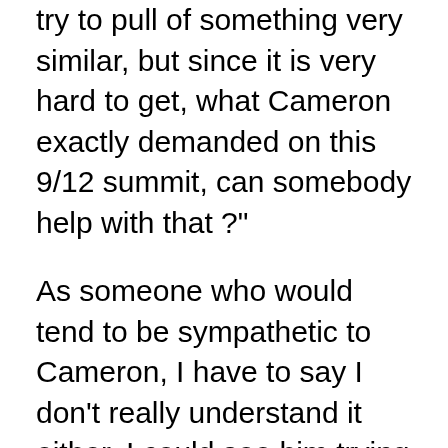try to pull of something very similar, but since it is very hard to get, what Cameron exactly demanded on this 9/12 summit, can somebody help with that ?"
As someone who would tend to be sympathetic to Cameron, I have to say I don't really understand it either. I could see him trying to veto the 9/12 agreement, on principle, which I think would have been right. I could see him trying to prevent the Tobin tax being imposed in the UK, which I also think would be right, as well as acting in his country's interests. But I do not